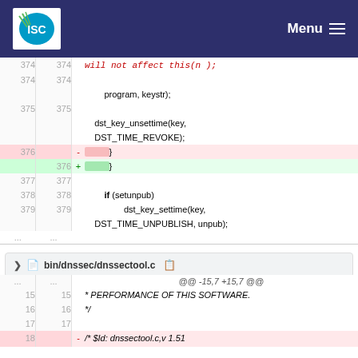ISC — Menu
[Figure (screenshot): Code diff view showing lines 374-379 and ellipsis of a C source file with removed line 376 (- }) highlighted in red/pink and added line 376 (+ }) highlighted in green]
bin/dnssec/dnssectool.c
[Figure (screenshot): Code diff view showing lines ... 15-18 of bin/dnssec/dnssectool.c with hunk header @@ -15,7 +15,7 @@, showing * PERFORMANCE OF THIS SOFTWARE., */, blank line, and partial line 18 with - /* $Id: dnssectool.c,v 1.51]